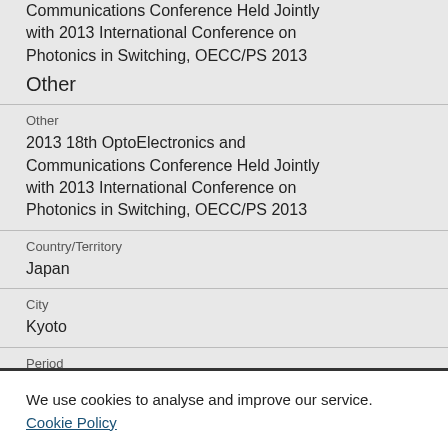Communications Conference Held Jointly with 2013 International Conference on Photonics in Switching, OECC/PS 2013
Other
Other
2013 18th OptoElectronics and Communications Conference Held Jointly with 2013 International Conference on Photonics in Switching, OECC/PS 2013
Country/Territory
Japan
City
Kyoto
Period
We use cookies to analyse and improve our service. Cookie Policy